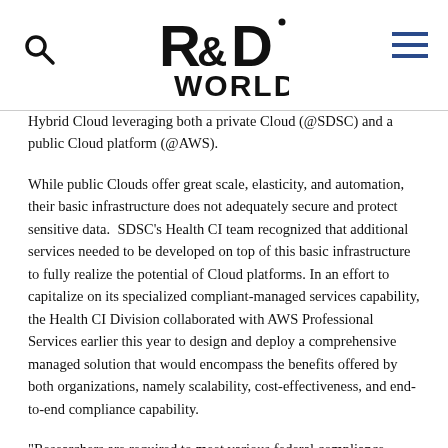R&D WORLD
Hybrid Cloud leveraging both a private Cloud (@SDSC) and a public Cloud platform (@AWS).
While public Clouds offer great scale, elasticity, and automation, their basic infrastructure does not adequately secure and protect sensitive data.  SDSC's Health CI team recognized that additional services needed to be developed on top of this basic infrastructure to fully realize the potential of Cloud platforms. In an effort to capitalize on its specialized compliant-managed services capability, the Health CI Division collaborated with AWS Professional Services earlier this year to design and deploy a comprehensive managed solution that would encompass the benefits offered by both organizations, namely scalability, cost-effectiveness, and end-to-end compliance capability.
“Researchers are required to meet various federal compliance